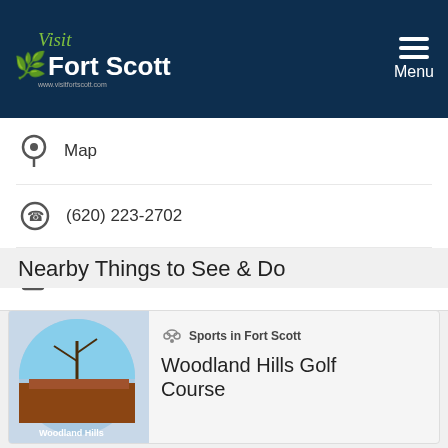Visit Fort Scott — www.visitfortscott.com
Map
(620) 223-2702
Visit Website
Nearby Things to See & Do
Sports in Fort Scott
Woodland Hills Golf Course